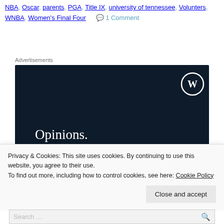NBA, Oscar, parents, PGA, Title IX, university of tennessee, Volunters, WNBA, Women's Final Four   💬 1 Comment
Advertisements
[Figure (screenshot): Dark navy advertisement banner with WordPress logo in top right corner. Text reads: 'Opinions.' on one line and 'We all have them!' in bold on the next line.]
Privacy & Cookies: This site uses cookies. By continuing to use this website, you agree to their use.
To find out more, including how to control cookies, see here: Cookie Policy
Close and accept